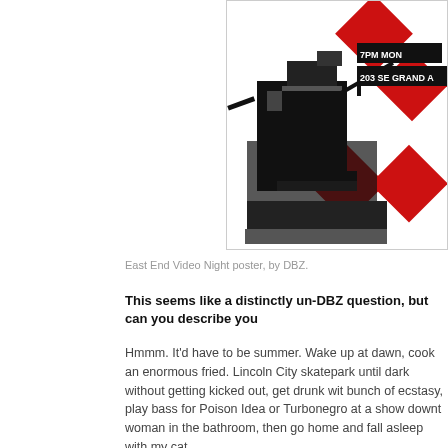[Figure (illustration): East End Video Night event poster with black, white and red geometric/graphic design showing camera equipment and text '7PM MONDAY' and '203 SE GRAND A']
East End Video Night poster, by DBZ.
This seems like a distinctly un-DBZ question, but can you describe you
Hmmm. It'd have to be summer. Wake up at dawn, cook an enormous fried. Lincoln City skatepark until dark without getting kicked out, get drunk wit bunch of ecstasy, play bass for Poison Idea or Turbonegro at a show downt woman in the bathroom, then go home and fall asleep with my cat.
I like that your perfect day starts at dawn. Are you a morning person w
Fuck no. I hate mornings.
Whom would you like to thank?
Everyone.